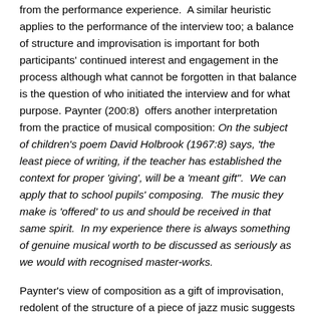from the performance experience.  A similar heuristic applies to the performance of the interview too; a balance of structure and improvisation is important for both participants' continued interest and engagement in the process although what cannot be forgotten in that balance is the question of who initiated the interview and for what purpose. Paynter (200:8)  offers another interpretation from the practice of musical composition: On the subject of children's poem David Holbrook (1967:8) says, 'the least piece of writing, if the teacher has established the context for proper 'giving', will be a 'meant gift".  We can apply that to school pupils' composing.  The music they make is 'offered' to us and should be received in that same spirit.  In my experience there is always something of genuine musical worth to be discussed as seriously as we would with recognised master-works.
Paynter's view of composition as a gift of improvisation, redolent of the structure of a piece of jazz music suggests that the interview process can be viewed in a similar light: a form of